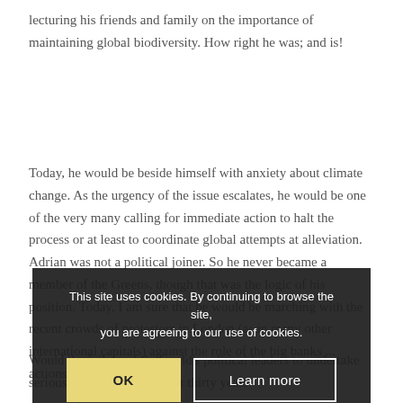lecturing his friends and family on the importance of maintaining global biodiversity. How right he was; and is!
Today, he would be beside himself with anxiety about climate change. As the urgency of the issue escalates, he would be one of the very many calling for immediate action to halt the process or at least to coordinate global attempts at alleviation. Adrian was not a political joiner. So he never became a member of the Greens, though that was the logic of his position. Today, I am sure that he would be marching with the recent crowds of protestors in London (as in many other international capitals) against the role of the big banks ... actions.
Would the failure of the world's political leaders to undertake serious action during the last thirty years
This site uses cookies. By continuing to browse the site, you are agreeing to our use of cookies.